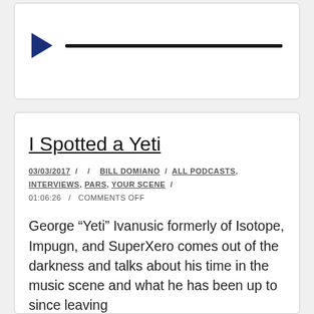[Figure (screenshot): Audio player with a dark blue play button triangle on the left and a long black progress bar stretching to the right, inside a white card with rounded corners.]
I Spotted a Yeti
03/03/2017 / / BILL DOMIANO / ALL PODCASTS, INTERVIEWS, PARS, YOUR SCENE / 01:06:26 / COMMENTS OFF
George “Yeti” Ivanusic formerly of Isotope, Impugn, and SuperXero comes out of the darkness and talks about his time in the music scene and what he has been up to since leaving